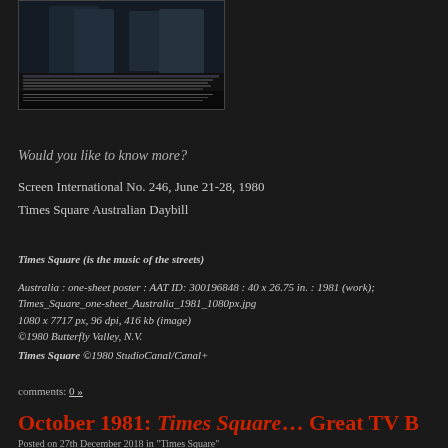[Figure (photo): Movie poster/daybill for Times Square (1980/1981), showing dark cinematic imagery with figures and text credits at the bottom on a dark background.]
Would you like to know more?
Screen International No. 246, June 21-28, 1980
Times Square Australian Daybill
Times Square (is the music of the streets)
Australia : one-sheet poster : AAT ID: 300196848 : 40 x 26.75 in. : 1981 (work);
Times_Square_one-sheet_Australia_1981_1080px.jpg
1080 x 7717 px, 96 dpi, 416 kb (image)
©1980 Butterfly Valley, N.V.
Times Square ©1980 StudioCanal/Canal+
comments: 0 »
October 1981: Times Square… Great TV B